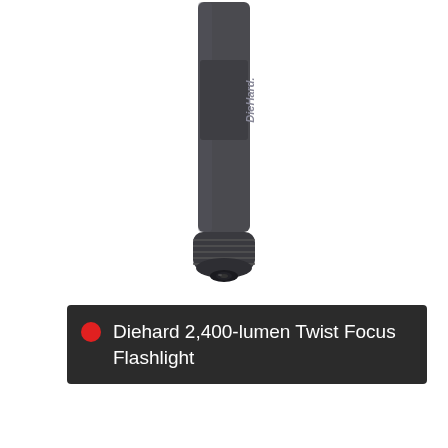[Figure (photo): Close-up photo of a DieHard flashlight body (tail/grip end), dark gray metallic finish with ribbed grip ring, shown against white background]
Diehard 2,400-lumen Twist Focus Flashlight
[Figure (photo): Close-up photo of a DieHard flashlight head/zoom section, dark gray metallic finish with knurled zoom ring, indicator dots and text on barrel, shown against white background]